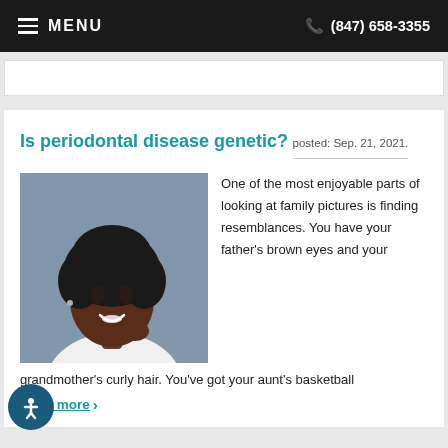MENU   (847) 658-3355
Is periodontal disease genetic?
posted: Sep. 21, 2021.
[Figure (photo): Young Black woman smiling, resting chin on hand, against a gray wall background]
One of the most enjoyable parts of looking at family pictures is finding resemblances. You have your father's brown eyes and your grandmother's curly hair. You've got your aunt's basketball
Read more >